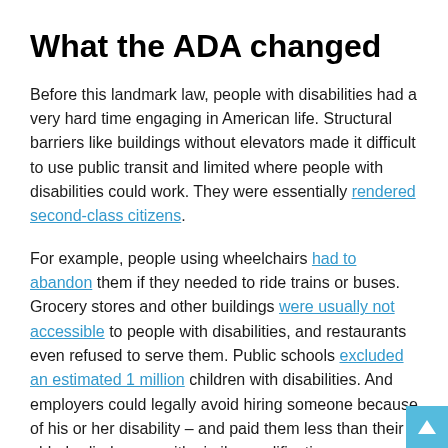What the ADA changed
Before this landmark law, people with disabilities had a very hard time engaging in American life. Structural barriers like buildings without elevators made it difficult to use public transit and limited where people with disabilities could work. They were essentially rendered second-class citizens.
For example, people using wheelchairs had to abandon them if they needed to ride trains or buses. Grocery stores and other buildings were usually not accessible to people with disabilities, and restaurants even refused to serve them. Public schools excluded an estimated 1 million children with disabilities. And employers could legally avoid hiring someone because of his or her disability – and paid them less than their able-bodied peers with similar qualifications.